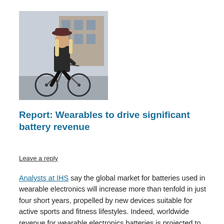[Figure (photo): Woman with long blonde hair wearing a dark hat and leather jacket, sitting on a bicycle in an urban setting]
Report: Wearables to drive significant battery revenue
Leave a reply
Analysts at IHS say the global market for batteries used in wearable electronics will increase more than tenfold in just four short years, propelled by new devices suitable for active sports and fitness lifestyles. Indeed, worldwide revenue for wearable electronics batteries is projected to reach $77 million by 2018, up considerably from a mere $6 million by year-end in 2014.